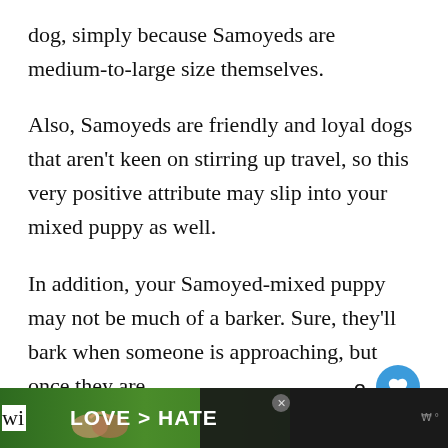dog, simply because Samoyeds are medium-to-large size themselves.
Also, Samoyeds are friendly and loyal dogs that aren't keen on stirring up travel, so this very positive attribute may slip into your mixed puppy as well.
In addition, your Samoyed-mixed puppy may not be much of a barker. Sure, they'll bark when someone is approaching, but once they are nearby, your designer pup will quiet down
[Figure (screenshot): Advertisement banner at the bottom showing 'LOVE > HATE' text with hands forming a heart shape, dark background, close button, and a logo on the right. Number badge '2' visible on the right side.]